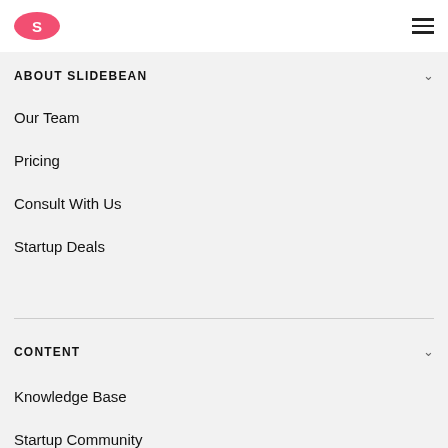S (Slidebean logo) | hamburger menu
ABOUT SLIDEBEAN
Our Team
Pricing
Consult With Us
Startup Deals
CONTENT
Knowledge Base
Startup Community
Youtube Channel